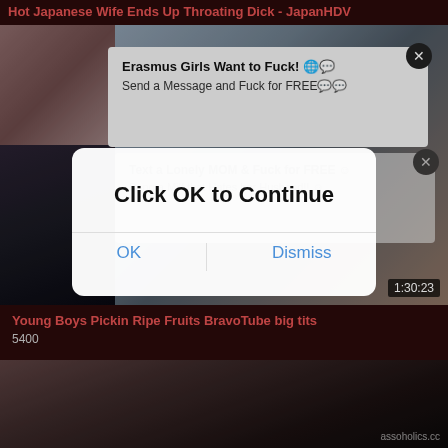Hot Japanese Wife Ends Up Throating Dick - JapanHDV
[Figure (photo): Video thumbnail collage with two images of women, overlaid with popup ads]
Erasmus Girls Want to Fuck! 🌐💬
Send a Message and Fuck for FREE💬💬
Text a Lonely MOM & Fuck for FREE ☺
Bang a Milf that Hates her Husband!! ☺
Click OK to Continue
OK
Dismiss
1:30:23
Young Boys Pickin Ripe Fruits BravoTube big tits
5400
[Figure (photo): Bottom video thumbnail showing a person, with assoholics.cc watermark]